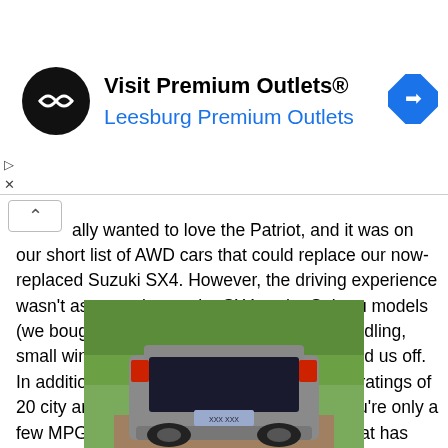[Figure (screenshot): Advertisement banner: Visit Premium Outlets® Leesburg Premium Outlets, with black circular logo and blue navigation arrow diamond icon]
ally wanted to love the Patriot, and it was on our short list of AWD cars that could replace our now-replaced Suzuki SX4. However, the driving experience wasn't as engaging as the SX4 or the Subaru models (we bought a Forester). The test model's handling, small windows, and build quality issues turned us off. In addition, our tester had low fuel economy ratings of 20 city and only 23 highway. At this point, you're only a few MPGs away from a more capable 4x4 that has more off-road prowess, such as the Jeep Wrangler.
[Figure (photo): Rear view of a silver/grey Jeep Patriot SUV on a dirt road surrounded by green foliage]